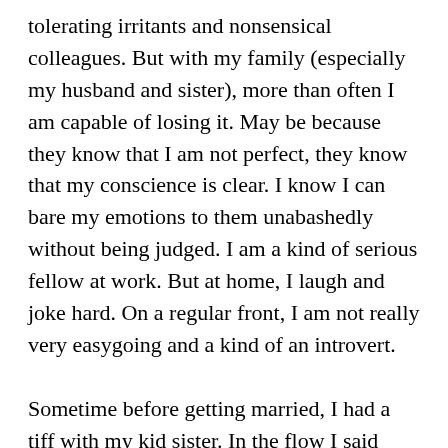tolerating irritants and nonsensical colleagues. But with my family (especially my husband and sister), more than often I am capable of losing it. May be because they know that I am not perfect, they know that my conscience is clear. I know I can bare my emotions to them unabashedly without being judged. I am a kind of serious fellow at work. But at home, I laugh and joke hard. On a regular front, I am not really very easygoing and a kind of an introvert.
Sometime before getting married, I had a tiff with my kid sister. In the flow I said something hurtful to her and she was on the verge of tears. I apologized. But the damage was already done. After she recovered from